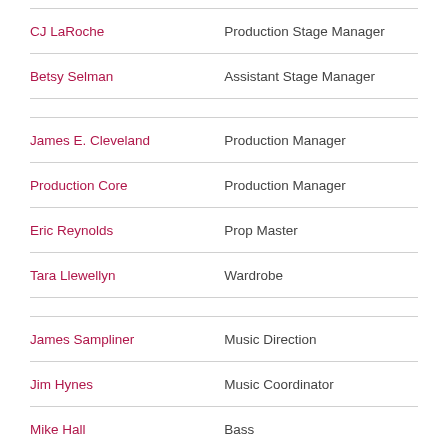| Name | Role |
| --- | --- |
| CJ LaRoche | Production Stage Manager |
| Betsy Selman | Assistant Stage Manager |
| James E. Cleveland | Production Manager |
| Production Core | Production Manager |
| Eric Reynolds | Prop Master |
| Tara Llewellyn | Wardrobe |
| James Sampliner | Music Direction |
| Jim Hynes | Music Coordinator |
| Mike Hall | Bass |
| Kristi Norter | Clarinet |
| Barbara Merjan | Drums |
| Kristi Norter | Flute |
| Chris Biesterfeldt | Guitar |
| Barbara Merjan | Percussion |
| James Sampliner | Piano |